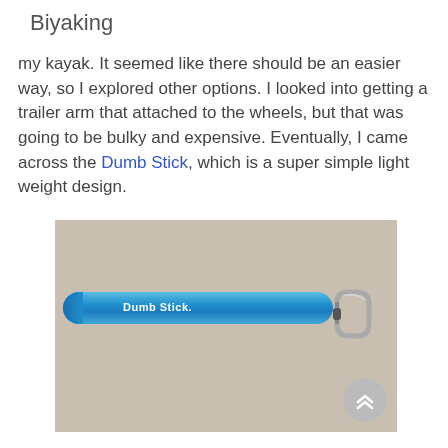Biyaking
my kayak.  It seemed like there should be an easier way, so I explored other options.  I looked into getting a trailer arm that attached to the wheels, but that was going to be bulky and expensive.  Eventually, I came across the Dumb Stick, which is a super simple light weight design.
[Figure (photo): A blue cylindrical tube labeled 'Dumb Stick.' lying horizontally on a concrete floor, with a carabiner clip attached to the right end.]